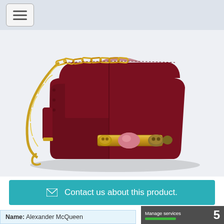[Figure (screenshot): Navigation bar with hamburger menu icon button]
[Figure (photo): Alexander McQueen dark red leather shoulder bag with gold chain strap and jeweled skull clasp]
Contact us about this product.
Name: Alexander McQueen
Manage services  5